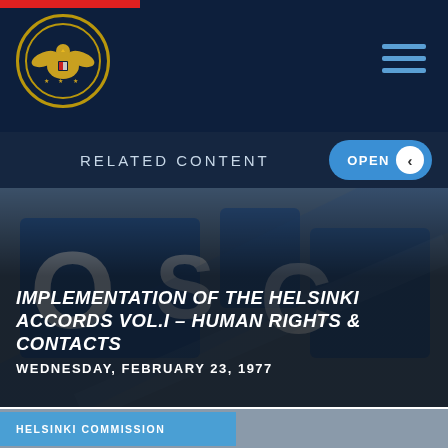[Figure (screenshot): US Helsinki Commission government website page showing navigation bar with seal/logo, RELATED CONTENT header with OPEN button, OSCE sign hero image, document title and date overlay, and Helsinki Commission tag]
IMPLEMENTATION OF THE HELSINKI ACCORDS VOL.I - HUMAN RIGHTS & CONTACTS
WEDNESDAY, FEBRUARY 23, 1977
HELSINKI COMMISSION